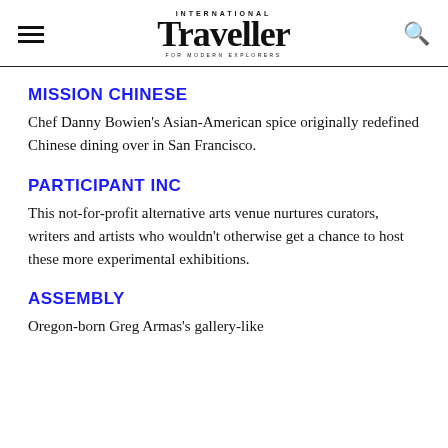International Traveller
MISSION CHINESE
Chef Danny Bowien's Asian-American spice originally redefined Chinese dining over in San Francisco.
PARTICIPANT INC
This not-for-profit alternative arts venue nurtures curators, writers and artists who wouldn't otherwise get a chance to host these more experimental exhibitions.
ASSEMBLY
Oregon-born Greg Armas's gallery-like